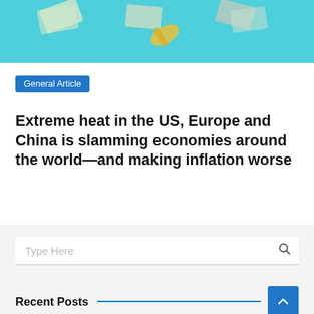[Figure (photo): Hero image with teal/cyan background showing currency notes and financial objects]
General Article
Extreme heat in the US, Europe and China is slamming economies around the world—and making inflation worse
Type Here
Recent Posts